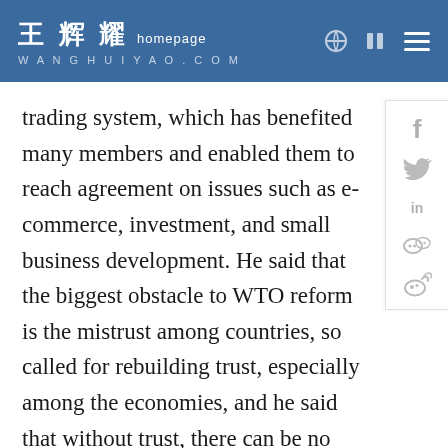王辉耀 homepage WANGHUIYAO.COM
trading system, which has benefited many members and enabled them to reach agreement on issues such as e-commerce, investment, and small business development. He said that the biggest obstacle to WTO reform is the mistrust among countries, so called for rebuilding trust, especially among the economies, and he said that without trust, there can be no cooperation and consequently no effective functioning of the WTO.